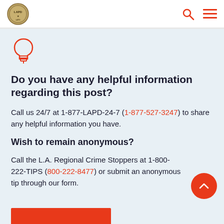LAPD
[Figure (illustration): Light bulb icon in orange/red outline style]
Do you have any helpful information regarding this post?
Call us 24/7 at 1-877-LAPD-24-7 (1-877-527-3247) to share any helpful information you have.
Wish to remain anonymous?
Call the L.A. Regional Crime Stoppers at 1-800-222-TIPS (800-222-8477) or submit an anonymous tip through our form.